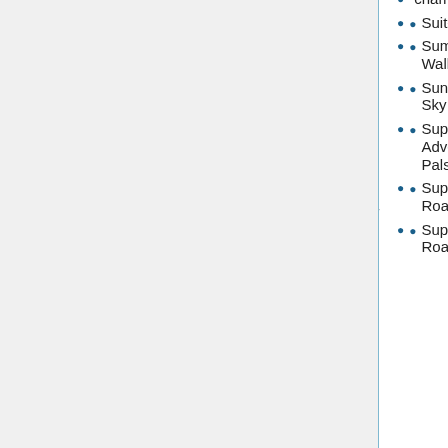Arabian Dancer Game
Arco Bowling
Arctic Blue
Arise And Die Again
Arkanoid Flash
Arm Wrestle My Ego
Arm of Revenge
Elements (Neutral) (Hacked)
Eminem Mania
Emo Game 2.5: Bush Game
Epic Rail
Epic Sax Game
Escape (Trapped Part 3)
Escape
Neko Shot
Night of the Loving Dead
Nightrider Turbo
Nim
Ninja Glove
Ninja Hattori: Table Top Cricket
Ninja Painter (Hacked)
chamber
Suit-Able
Summer Walk
Sunny Day Sky
Super Adventure Pals
Super Car Road Trip
Super Car Road Trip 2